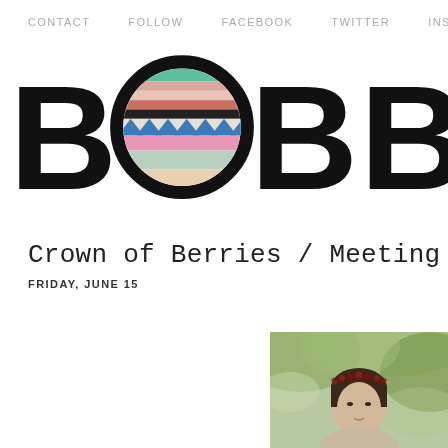CONTACT   FOLLOW   FACEBOOK   TWITTER   INSTAG
[Figure (logo): BOBB logo with large bold letters B, O (colored striped circle inside), B, B — partially cut off on right]
Crown of Berries / Meeting ...
FRIDAY, JUNE 15
[Figure (photo): Young woman with dark hair wearing a berry crown/floral headpiece, photographed outdoors with green foliage background, slightly desaturated vintage look]